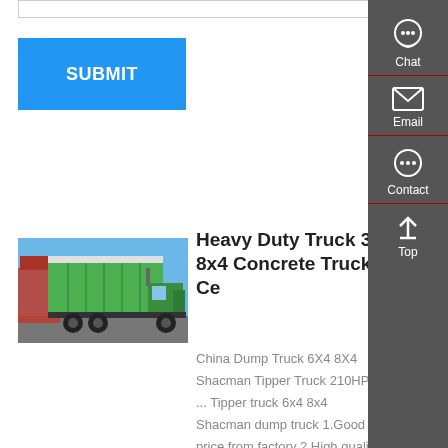[Figure (screenshot): Web form textarea stub at top of page]
SUBMIT
[Figure (photo): Green heavy duty dump truck (8x4) parked in a yard, viewed from rear-left angle]
Heavy Duty Truck 380 Hp 8x4 Concrete Truck With Ce
China Dump Truck 6X4 8X4
Shacman Tipper Truck 210HP
... Tipper truck 6x4 8x4
Shacman dump truck 1.Good
price from factory 2.High quality